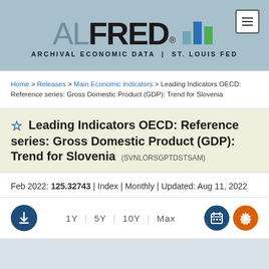[Figure (logo): ALFRED logo — Archival Economic Data, St. Louis Fed — with bar chart icon]
Home > Releases > Main Economic Indicators > Leading Indicators OECD: Reference series: Gross Domestic Product (GDP): Trend for Slovenia
Leading Indicators OECD: Reference series: Gross Domestic Product (GDP): Trend for Slovenia (SVNLORSGPTDSTSAM)
Feb 2022: 125.32743 | Index | Monthly | Updated: Aug 11, 2022
1Y | 5Y | 10Y | Max